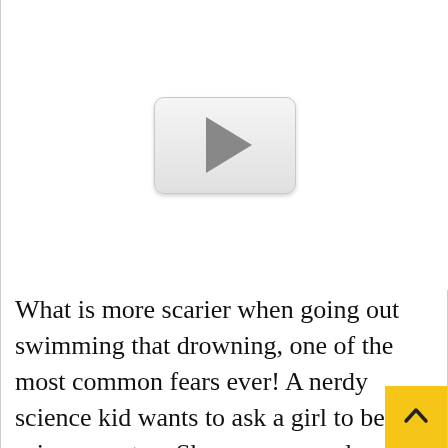[Figure (other): Video player placeholder with a large play button (rounded rectangle with a grey play triangle) centered on a white background.]
What is more scarier when going out swimming that drowning, one of the most common fears ever! A nerdy science kid wants to ask a girl to be her science partne. She says yes and says to meet her at the school swimming pool to do their studies. The